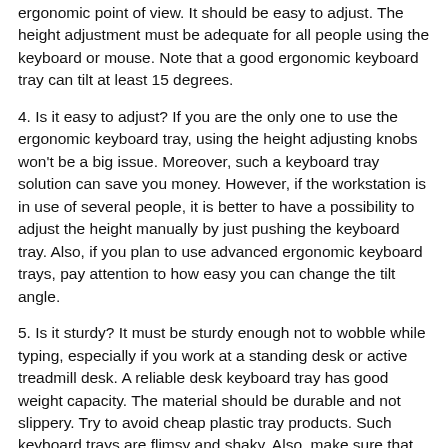ergonomic point of view. It should be easy to adjust. The height adjustment must be adequate for all people using the keyboard or mouse. Note that a good ergonomic keyboard tray can tilt at least 15 degrees.
4. Is it easy to adjust? If you are the only one to use the ergonomic keyboard tray, using the height adjusting knobs won't be a big issue. Moreover, such a keyboard tray solution can save you money. However, if the workstation is in use of several people, it is better to have a possibility to adjust the height manually by just pushing the keyboard tray. Also, if you plan to use advanced ergonomic keyboard trays, pay attention to how easy you can change the tilt angle.
5. Is it sturdy? It must be sturdy enough not to wobble while typing, especially if you work at a standing desk or active treadmill desk. A reliable desk keyboard tray has good weight capacity. The material should be durable and not slippery. Try to avoid cheap plastic tray products. Such keyboard trays are flimsy and shaky. Also, make sure that